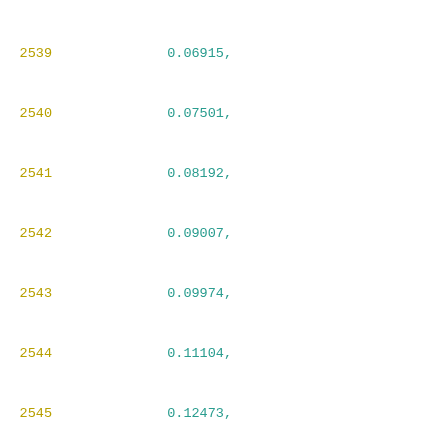2539    0.06915,
2540    0.07501,
2541    0.08192,
2542    0.09007,
2543    0.09974,
2544    0.11104,
2545    0.12473,
2546    0.14095,
2547    0.16032,
2548    0.18373,
2549    0.21225,
2550    0.24644,
2551    0.28817,
2552    0.33909,
2553    0.4
2554    ],
2555    [
2556        0.0341,
2557        0.04776,
2558        0.05015,
2559        0.05289,